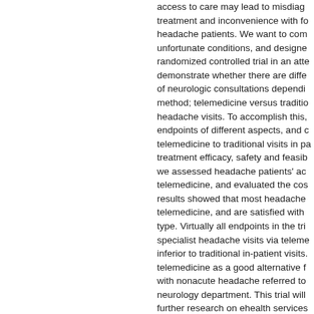access to care may lead to misdiagnosis, treatment and inconvenience with for headache patients. We want to com unfortunate conditions, and designed randomized controlled trial in an atte demonstrate whether there are diffe of neurologic consultations depending method; telemedicine versus traditio headache visits. To accomplish this, endpoints of different aspects, and c telemedicine to traditional visits in pa treatment efficacy, safety and feasib we assessed headache patients' acc telemedicine, and evaluated the cos results showed that most headache telemedicine, and are satisfied with type. Virtually all endpoints in the tri specialist headache visits via teleme inferior to traditional in-patient visits. telemedicine as a good alternative f with nonacute headache referred to neurology department. This trial will further research on ehealth services